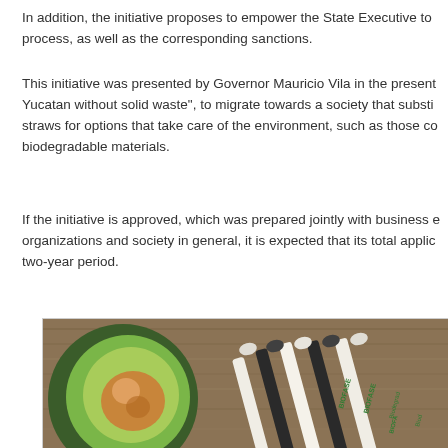In addition, the initiative proposes to empower the State Executive to process, as well as the corresponding sanctions.
This initiative was presented by Governor Mauricio Vila in the present Yucatan without solid waste", to migrate towards a society that substitutes straws for options that take care of the environment, such as those composed of biodegradable materials.
If the initiative is approved, which was prepared jointly with business organizations and society in general, it is expected that its total application over a two-year period.
[Figure (photo): Photo showing a halved avocado on the left and BIOFASE branded biodegradable straws on a wooden surface on the right.]